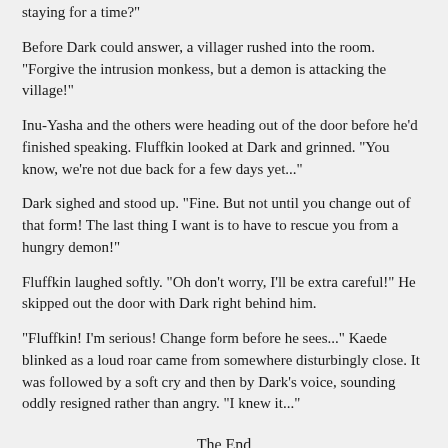staying for a time?"
Before Dark could answer, a villager rushed into the room. "Forgive the intrusion monkess, but a demon is attacking the village!"
Inu-Yasha and the others were heading out of the door before he'd finished speaking. Fluffkin looked at Dark and grinned. "You know, we're not due back for a few days yet..."
Dark sighed and stood up. "Fine. But not until you change out of that form! The last thing I want is to have to rescue you from a hungry demon!"
Fluffkin laughed softly. "Oh don't worry, I'll be extra careful!" He skipped out the door with Dark right behind him.
"Fluffkin! I'm serious! Change form before he sees..." Kaede blinked as a loud roar came from somewhere disturbingly close. It was followed by a soft cry and then by Dark's voice, sounding oddly resigned rather than angry. "I knew it..."
The End